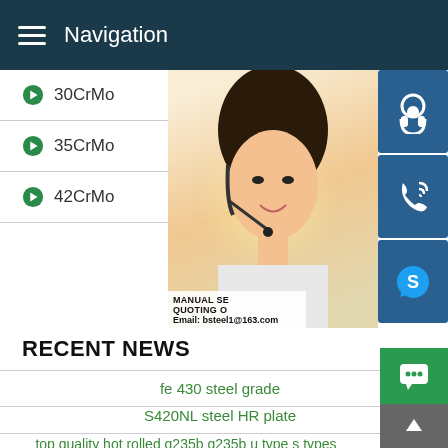Navigation
30CrMo
35CrMo
42CrMo
[Figure (photo): Customer service woman with headset, with contact icons (headset, phone, Skype) on right side. Overlay text: MANUAL SE... QUOTING O... Email: bsteel1@163.com]
RECENT NEWS
fe 430 steel grade
S420NL steel HR plate
top quality hot rolled q235b q235b u type s types